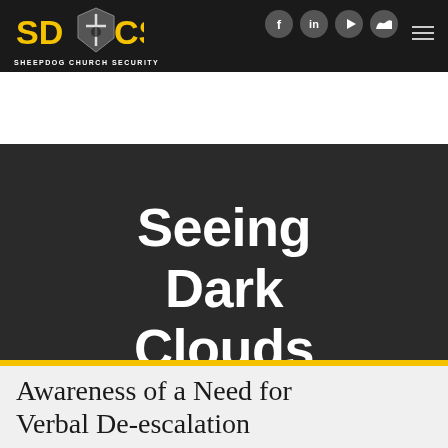SHEEPDOG CHURCH SECURITY — navigation bar with social icons (Facebook, LinkedIn, YouTube, SoundCloud) and hamburger menu
Seeing Dark Clouds
Awareness of a Need for Verbal De-escalation